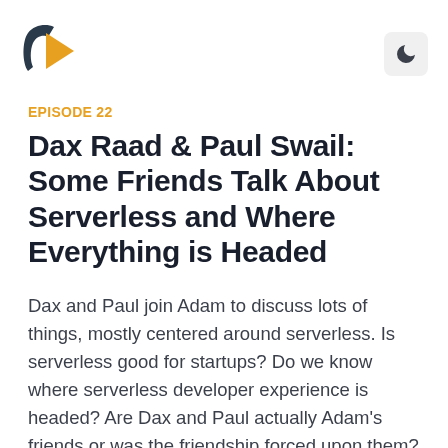[Figure (logo): Podcast app logo: orange/amber play button triangle shape with a dark teal curved arrow/chevron forming a stylized play icon]
[Figure (other): Dark mode toggle button: moon icon on light gray rounded square button]
EPISODE 22
Dax Raad & Paul Swail: Some Friends Talk About Serverless and Where Everything is Headed
Dax and Paul join Adam to discuss lots of things, mostly centered around serverless. Is serverless good for startups? Do we know where serverless developer experience is headed? Are Dax and Paul actually Adam's friends or was the friendship forced upon them?